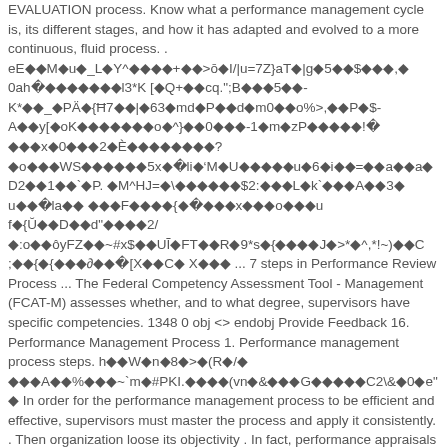EVALUATION process. Know what a performance management cycle is, its different stages, and how it has adapted and evolved to a more continuous, fluid process. . eE◆◆M◆u◆_L◆Y^◆◆◆◆+◆◆>ō◆I/|u=7Z}aT◆|g◆5◆◆$◆◆◆,◆ 0ah�◆◆◆◆◆◆◆l3*K [◆Q+◆◆cq.";B◆◆◆5◆◆- K*◆◆_◆PÄ◆{Ħ 7◆◆|◆63◆md◆P◆◆d◆m0◆◆o%>,◆◆P◆$- A◆◆y[◆oK◆◆◆◆◆◆◆o◆^}◆◆0◆◆◆-1◆m◆zP◆◆◆◆◆!� ◆◆◆x◆0◆◆◆2◆È◆◆◆◆◆◆◆◆? ◆o◆◆◆WS◆◆◆◆◆◆5x◆�li◆'M◆U◆◆◆◆◆u◆6◆i◆◆=◆◆a◆◆a◆ D2◆◆1◆◆`◆P. ◆M^HJ=◆\◆◆◆◆◆◆$2:◆◆◆L◆k`◆◆◆A◆◆3◆ u◆◆�la◆◆ ◆◆◆F◆◆◆◆{◆�◆◆◆x◆◆◆o◆◆◆u f◆{Ŭ◆◆D◆◆d"◆◆◆◆2/ ◆:o◆◆ôyFZ◆◆~#x$◆◆UĨ◆FT◆◆R◆9*s◆{◆◆◆◆J◆>*◆^,*!~)◆◆C ;◆◆{◆{◆◆◆∂◆◆�[X◆◆C◆ X◆◆◆ ... 7 steps in Performance Review Process ... The Federal Competency Assessment Tool - Management (FCAT-M) assesses whether, and to what degree, supervisors have specific competencies. 1348 0 obj <> endobj Provide Feedback 16. Performance Management Process 1. Performance management process steps. h◆◆W◆n◆8◆>◆(R◆/◆ ◆◆◆A◆◆%◆◆◆~`m◆#PKI.◆◆◆◆(vn◆&◆◆◆G◆◆◆◆◆C2\&◆0◆e"◆ In order for the performance management process to be efficient and effective, supervisors must master the process and apply it consistently. . Then organization loose its objectivity . In fact, performance appraisals are